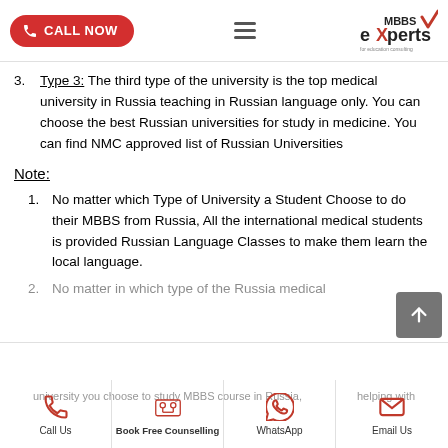CALL NOW | MBBS Experts
Type 3: The third type of the university is the top medical university in Russia teaching in Russian language only. You can choose the best Russian universities for study in medicine. You can find NMC approved list of Russian Universities
Note:
No matter which Type of University a Student Choose to do their MBBS from Russia, All the international medical students is provided Russian Language Classes to make them learn the local language.
No matter in which type of the Russia medical university you choose to study MBBS course in Russia, helping with...
Call Us | Book Free Counselling | WhatsApp | Email Us